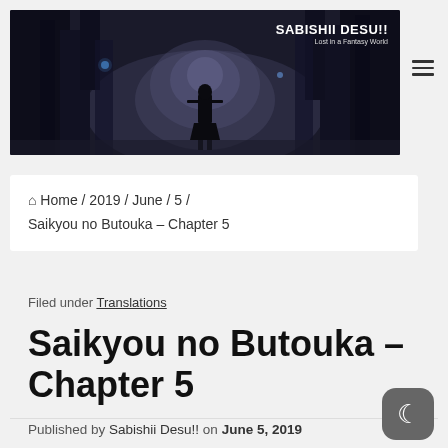[Figure (illustration): Dark fantasy banner image with a silhouetted figure standing in a forest or tunnel of dark trees, with a glowing light in the background. Text overlay reads 'SABISHII DESU!! Lost in a Fantasy World']
SABISHII DESU!! Lost in a Fantasy World
⌂ Home / 2019 / June / 5 / Saikyou no Butouka – Chapter 5
Filed under Translations
Saikyou no Butouka – Chapter 5
Published by Sabishii Desu!! on June 5, 2019